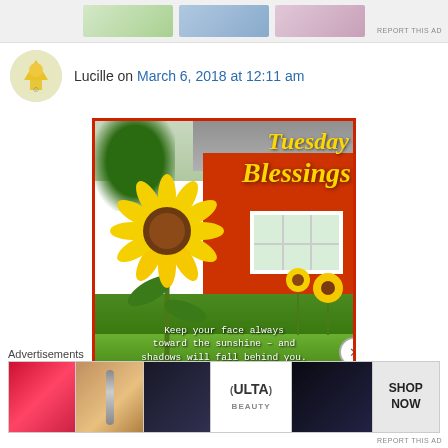[Figure (photo): Top advertisement banner with images of cosmetics]
REPORT THIS AD
Lucille on March 6, 2018 at 12:11 am
[Figure (photo): Tuesday Blessings inspirational image with sunflower in front of a red barn, with quote: Keep your face always toward the sunshine – and shadows will fall behind you.]
Advertisements
[Figure (photo): Ulta Beauty advertisement banner showing makeup products and eyes with SHOP NOW text]